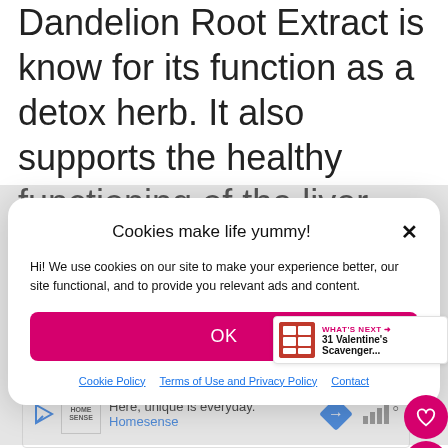Dandelion Root Extract is know for its function as a detox herb. It also supports the healthy functioning of the liver, kidneys, spleen, and gallbladder.
[Figure (screenshot): Cookie consent modal dialog with title 'Cookies make life yummy!', body text explaining cookie usage, an OK button in pink/magenta, and links to Cookie Policy, Terms of Use and Privacy Policy, and Contact. Also includes floating heart and share action buttons, and a 'What's Next' widget showing '31 Valentine's Scavenger...' content.]
four things really sped up my recovery.
[Figure (screenshot): Advertisement banner showing 'Here, unique is everyday.' with Homesense branding, a blue diamond navigation icon, and audio/signal bars with degree symbol.]